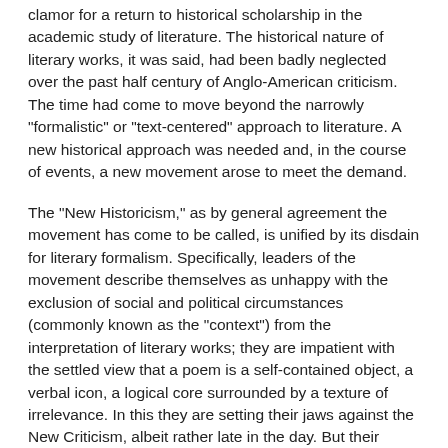clamor for a return to historical scholarship in the academic study of literature. The historical nature of literary works, it was said, had been badly neglected over the past half century of Anglo-American criticism. The time had come to move beyond the narrowly "formalistic" or "text-centered" approach to literature. A new historical approach was needed and, in the course of events, a new movement arose to meet the demand.
The "New Historicism," as by general agreement the movement has come to be called, is unified by its disdain for literary formalism. Specifically, leaders of the movement describe themselves as unhappy with the exclusion of social and political circumstances (commonly known as the "context") from the interpretation of literary works; they are impatient with the settled view that a poem is a self-contained object, a verbal icon, a logical core surrounded by a texture of irrelevance. In this they are setting their jaws against the New Criticism, albeit rather late in the day. But their hostility can never (to use one of their own favored terms) be unmediated. The French nouvelle critique and German philosophical hermeneutics have intervened, at